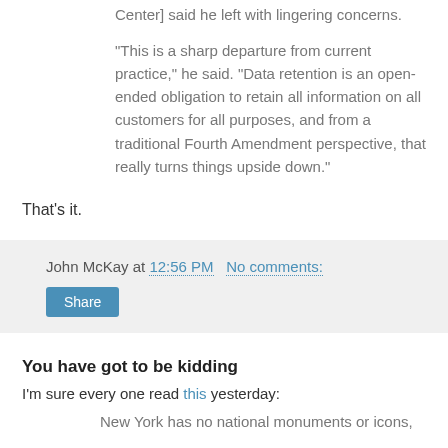Center] said he left with lingering concerns.
"This is a sharp departure from current practice," he said. "Data retention is an open-ended obligation to retain all information on all customers for all purposes, and from a traditional Fourth Amendment perspective, that really turns things upside down."
That's it.
John McKay at 12:56 PM   No comments:
Share
You have got to be kidding
I'm sure every one read this yesterday:
New York has no national monuments or icons,